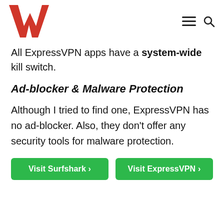W [logo] — hamburger menu icon — search icon
All ExpressVPN apps have a system-wide kill switch.
Ad-blocker & Malware Protection
Although I tried to find one, ExpressVPN has no ad-blocker. Also, they don't offer any security tools for malware protection.
Visit Surfshark › | Visit ExpressVPN ›